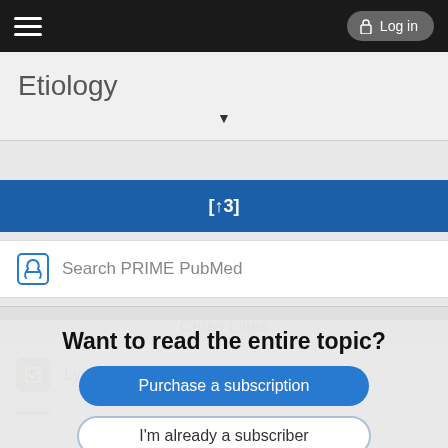Log in
Etiology
▼
[↑3]
Search PRIME PubMed
Cross Links
Lyme disease antibody
Want to read the entire topic?
Purchase a subscription
I'm already a subscriber
Browse sample topics